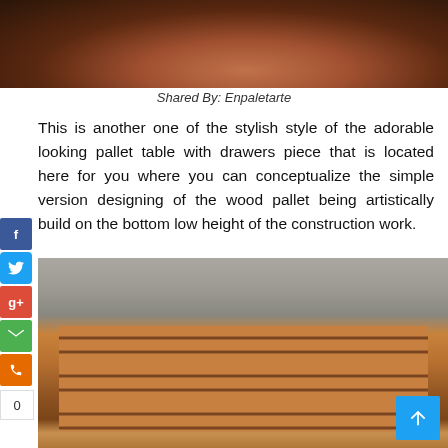[Figure (photo): Top portion of a wood pallet table with rustic wooden surface, dark tones, partial view from above]
Shared By: Enpaletarte
This is another one of the stylish style of the adorable looking pallet table with drawers piece that is located here for you where you can conceptualize the simple version designing of the wood pallet being artistically build on the bottom low height of the construction work.
[Figure (photo): A wooden pallet table with drawers photographed outdoors on a concrete surface. The table has horizontal wooden slats on top and three drawer openings visible on the lower front side. The background shows a concrete wall with stacked blocks.]